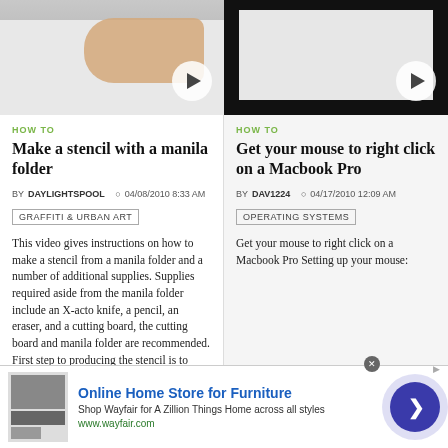[Figure (screenshot): Video thumbnail showing hands working on paper, with a play button overlay]
[Figure (screenshot): Video thumbnail showing a Mac computer screen, with a play button overlay]
HOW TO
Make a stencil with a manila folder
BY DAYLIGHTSPOOL  04/08/2010 8:33 AM
GRAFFITI & URBAN ART
This video gives instructions on how to make a stencil from a manila folder and a number of additional supplies. Supplies required aside from the manila folder include an X-acto knife, a pencil, an eraser, and a cutting board, the cutting board and manila folder are recommended. First step to producing the stencil is to draw an image to serve as the stencil pattern. After making the design, cuts must be
HOW TO
Get your mouse to right click on a Macbook Pro
BY DAV1224  04/17/2010 12:09 AM
OPERATING SYSTEMS
Get your mouse to right click on a Macbook Pro Setting up your mouse:
[Figure (photo): Advertisement banner for Wayfair online furniture store showing furniture images, blue title text, and a circular arrow button]